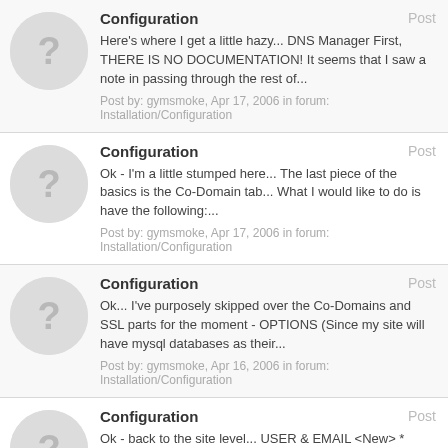Configuration
Here's where I get a little hazy... DNS Manager First, THERE IS NO DOCUMENTATION! It seems that I saw a note in passing through the rest of...
Post by: gymsmoke, Apr 17, 2006 in forum: Installation/Configuration
Configuration
Ok - I'm a little stumped here... The last piece of the basics is the Co-Domain tab... What I would like to do is have the following:...
Post by: gymsmoke, Apr 17, 2006 in forum: Installation/Configuration
Configuration
Ok... I've purposely skipped over the Co-Domains and SSL parts for the moment - OPTIONS (Since my site will have mysql databases as their...
Post by: gymsmoke, Apr 16, 2006 in forum: Installation/Configuration
Configuration
Ok - back to the site level... USER & EMAIL <New> * Since each site apparently needs a site admin, I'll put that in first Real Name: This...
Post by: gymsmoke, Apr 16, 2006 in forum: Installation/Configuration